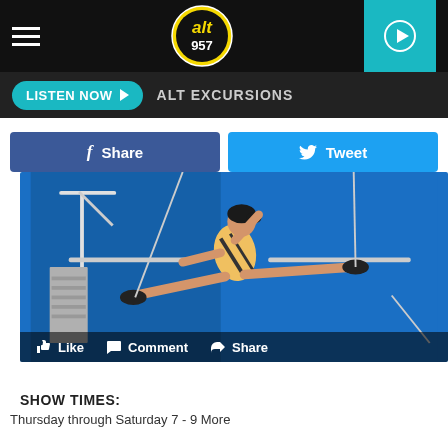[Figure (screenshot): Alt 957 radio station mobile app navigation bar with hamburger menu, ALT 957 circular logo, and teal play button]
LISTEN NOW ▶  ALT EXCURSIONS
f Share   Tweet
[Figure (photo): Gymnast/acrobat in yellow and black leotard performing a split on trapeze equipment against a bright blue background, with Like, Comment, Share overlay bar at bottom]
SHOW TIMES:
Thursday through Saturday 7 - 9 More